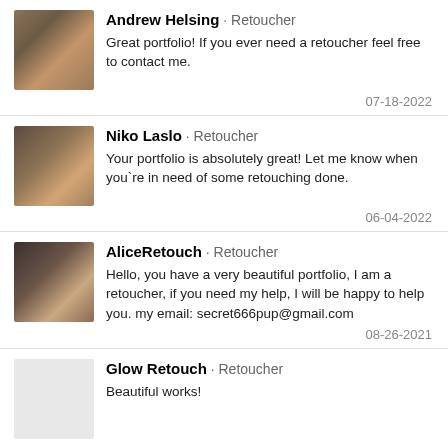Andrew Helsing · Retoucher
Great portfolio! If you ever need a retoucher feel free to contact me.
07-18-2022
Niko Laslo · Retoucher
Your portfolio is absolutely great! Let me know when you`re in need of some retouching done.
06-04-2022
AliceRetouch · Retoucher
Hello, you have a very beautiful portfolio, I am a retoucher, if you need my help, I will be happy to help you. my email: secret666pup@gmail.com
08-26-2021
Glow Retouch · Retoucher
Beautiful works!